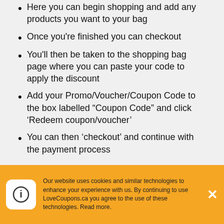Here you can begin shopping and add any products you want to your bag
Once you're finished you can checkout
You'll then be taken to the shopping bag page where you can paste your code to apply the discount
Add your Promo/Voucher/Coupon Code to the box labelled “Coupon Code” and click ‘Redeem coupon/voucher’
You can then ‘checkout’ and continue with the payment process
Our website uses cookies and similar technologies to enhance your experience with us. By continuing to use LoveCoupons.ca you agree to the use of these technologies. Read more.